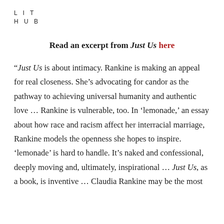LIT
HUB
Read an excerpt from Just Us here
“Just Us is about intimacy. Rankine is making an appeal for real closeness. She’s advocating for candor as the pathway to achieving universal humanity and authentic love … Rankine is vulnerable, too. In ‘lemonade,’ an essay about how race and racism affect her interracial marriage, Rankine models the openness she hopes to inspire. ‘lemonade’ is hard to handle. It’s naked and confessional, deeply moving and, ultimately, inspirational … Just Us, as a book, is inventive … Claudia Rankine may be the most